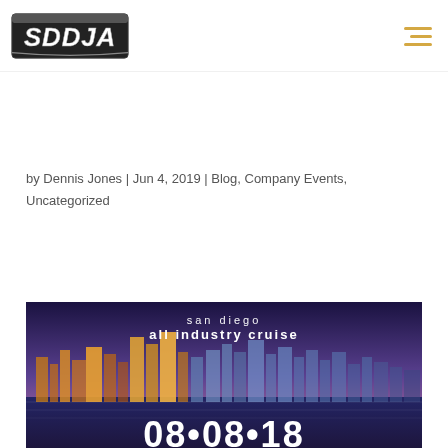[Figure (logo): SDDJA logo in stylized metallic block letters]
by Dennis Jones | Jun 4, 2019 | Blog, Company Events, Uncategorized
[Figure (photo): San Diego All Industry Cruise event promotional image showing San Diego skyline at dusk with text 'san diego all industry cruise 08•08•18']